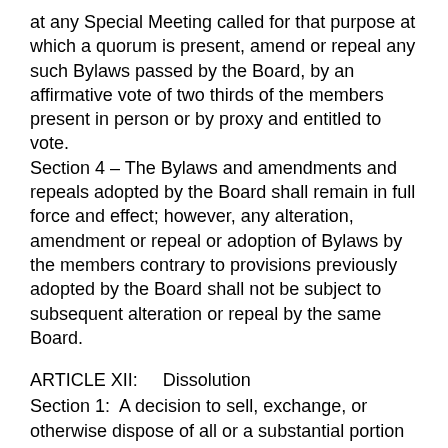at any Special Meeting called for that purpose at which a quorum is present, amend or repeal any such Bylaws passed by the Board, by an affirmative vote of two thirds of the members present in person or by proxy and entitled to vote.
Section 4 – The Bylaws and amendments and repeals adopted by the Board shall remain in full force and effect; however, any alteration, amendment or repeal or adoption of Bylaws by the members contrary to provisions previously adopted by the Board shall not be subject to subsequent alteration or repeal by the same Board.
ARTICLE XII:    Dissolution
Section 1:  A decision to sell, exchange, or otherwise dispose of all or a substantial portion of the assets of the Corporation shall be ratified by a two-thirds vote of those members eligible to vote who are present in person or by proxy at any Regular or Special Meeting of the Membership at which a quorum is present.  Any such